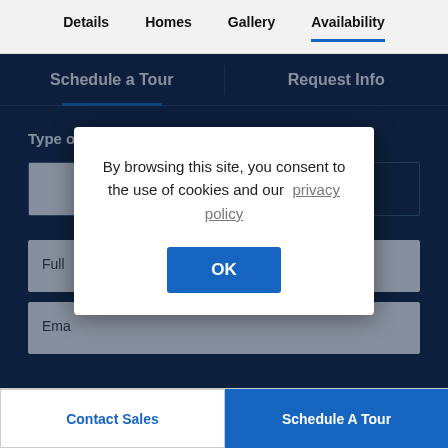Details  Homes  Gallery  Availability
Schedule a Tour
Request Info
Type of Tour ?
On-Site
Virtual
Full
Ema
By browsing this site, you consent to the use of cookies and our  privacy policy
OK
Contact Sales
Schedule A Tour